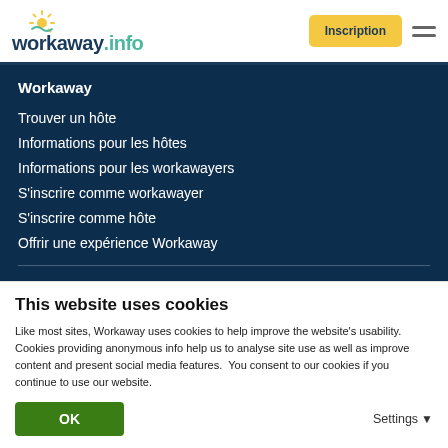workaway.info — Inscription
Workaway
Trouver un hôte
Informations pour les hôtes
Informations pour les workawayers
S'inscrire comme workawayer
S'inscrire comme hôte
Offrir une expérience Workaway
Communauté
Workaway Blog
This website uses cookies
Like most sites, Workaway uses cookies to help improve the website's usability. Cookies providing anonymous info help us to analyse site use as well as improve content and present social media features.  You consent to our cookies if you continue to use our website.
OK    Settings